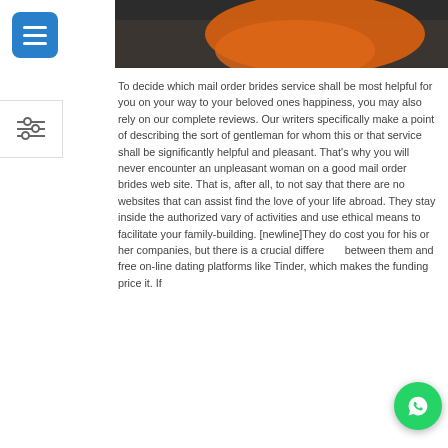[Figure (photo): Partial photo showing dark jacket and orange clothing/scarf at the top of the content area]
To decide which mail order brides service shall be most helpful for you on your way to your beloved ones happiness, you may also rely on our complete reviews. Our writers specifically make a point of describing the sort of gentleman for whom this or that service shall be significantly helpful and pleasant. That's why you will never encounter an unpleasant woman on a good mail order brides web site. That is, after all, to not say that there are no websites that can assist find the love of your life abroad. They stay inside the authorized vary of activities and use ethical means to facilitate your family-building. [newline]They do cost you for his or her companies, but there is a crucial difference between them and free on-line dating platforms like Tinder, which makes the funding price it. If